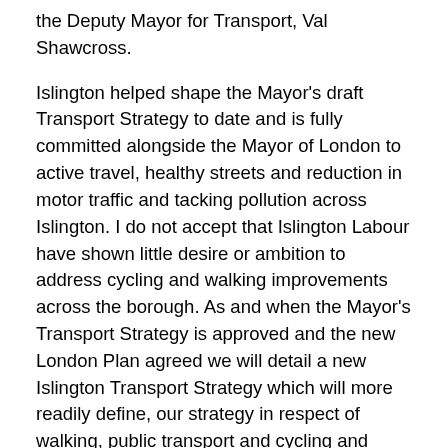the Deputy Mayor for Transport, Val Shawcross.
Islington helped shape the Mayor's draft Transport Strategy to date and is fully committed alongside the Mayor of London to active travel, healthy streets and reduction in motor traffic and tacking pollution across Islington. I do not accept that Islington Labour have shown little desire or ambition to address cycling and walking improvements across the borough. As and when the Mayor's Transport Strategy is approved and the new London Plan agreed we will detail a new Islington Transport Strategy which will more readily define, our strategy in respect of walking, public transport and cycling and update all of our existing strategies. It is precisely because of our actions, strategies and policies why Islington has the lowest car ownership as compared to the whole of London and indeed nationally. When car ownership has gone up elsewhere Islington continues to go down. Equally, Islington has called on the Mayor to